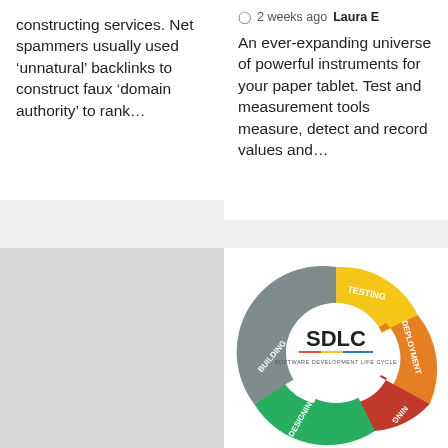constructing services. Net spammers usually used ‘unnatural’ backlinks to construct faux ‘domain authority’ to rank…
2 weeks ago  Laura E
An ever-expanding universe of powerful instruments for your paper tablet. Test and measurement tools measure, detect and record values and…
[Figure (photo): Light gray placeholder image card]
News Technology
[Figure (infographic): SDLC (Software Development Life Cycle) circular diagram with colored segments: TESTING (yellow), DEPLOYMENT (orange), PLANNING (red), DESIGNING (green), BUILDING (gray)]
News Technology